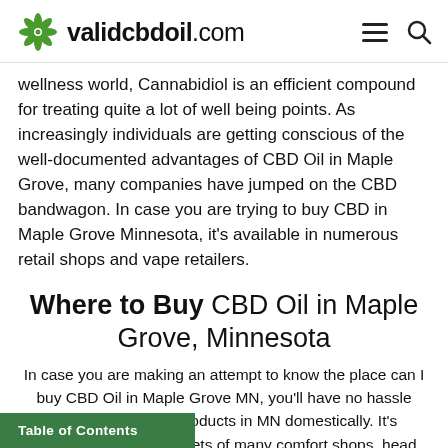validcbdoil.com
wellness world, Cannabidiol is an efficient compound for treating quite a lot of well being points. As increasingly individuals are getting conscious of the well-documented advantages of CBD Oil in Maple Grove, many companies have jumped on the CBD bandwagon. In case you are trying to buy CBD in Maple Grove Minnesota, it’s available in numerous retail shops and vape retailers.
Where to Buy CBD Oil in Maple Grove, Minnesota
In case you are making an attempt to know the place can I buy CBD Oil in Maple Grove MN, you’ll have no hassle discovering hemp products in MN domestically. It’s obtainable on the cabinets of many comfort shops, head retailers, and ps. It’s also possible to order Maple
Table of Contents